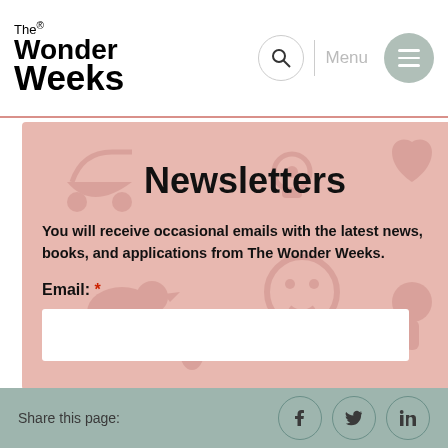The Wonder Weeks
Newsletters
You will receive occasional emails with the latest news, books, and applications from The Wonder Weeks.
Email: *
Share this page: